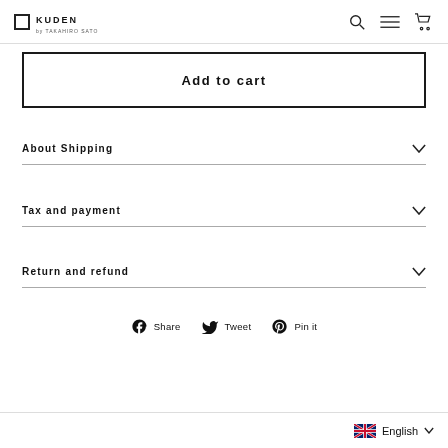KUDEN
Add to cart
About Shipping
Tax and payment
Return and refund
Share  Tweet  Pin it
English